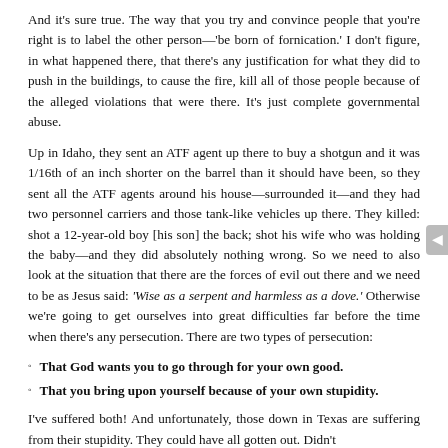And it's sure true. The way that you try and convince people that you're right is to label the other person—'be born of fornication.' I don't figure, in what happened there, that there's any justification for what they did to push in the buildings, to cause the fire, kill all of those people because of the alleged violations that were there. It's just complete governmental abuse.
Up in Idaho, they sent an ATF agent up there to buy a shotgun and it was 1/16th of an inch shorter on the barrel than it should have been, so they sent all the ATF agents around his house—surrounded it—and they had two personnel carriers and those tank-like vehicles up there. They killed: shot a 12-year-old boy [his son] the back; shot his wife who was holding the baby—and they did absolutely nothing wrong. So we need to also look at the situation that there are the forces of evil out there and we need to be as Jesus said: 'Wise as a serpent and harmless as a dove.' Otherwise we're going to get ourselves into great difficulties far before the time when there's any persecution. There are two types of persecution:
That God wants you to go through for your own good.
That you bring upon yourself because of your own stupidity.
I've suffered both! And unfortunately, those down in Texas are suffering from their stupidity. They could have all gotten out. Didn't